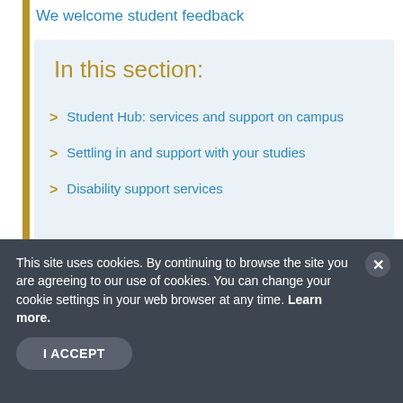We welcome student feedback
In this section:
Student Hub: services and support on campus
Settling in and support with your studies
Disability support services
This site uses cookies. By continuing to browse the site you are agreeing to our use of cookies. You can change your cookie settings in your web browser at any time. Learn more.
I ACCEPT